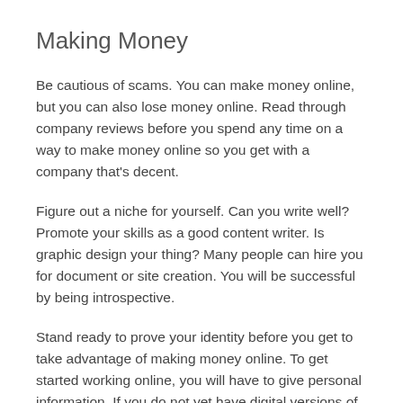Making Money
Be cautious of scams. You can make money online, but you can also lose money online. Read through company reviews before you spend any time on a way to make money online so you get with a company that's decent.
Figure out a niche for yourself. Can you write well? Promote your skills as a good content writer. Is graphic design your thing? Many people can hire you for document or site creation. You will be successful by being introspective.
Stand ready to prove your identity before you get to take advantage of making money online. To get started working online, you will have to give personal information. If you do not yet have digital versions of your personal identification documentation, get them ready in advance